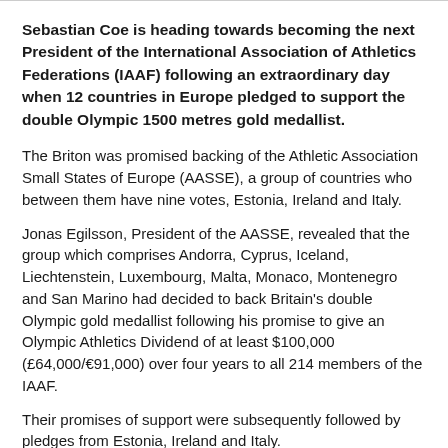Sebastian Coe is heading towards becoming the next President of the International Association of Athletics Federations (IAAF) following an extraordinary day when 12 countries in Europe pledged to support the double Olympic 1500 metres gold medallist.
The Briton was promised backing of the Athletic Association Small States of Europe (AASSE), a group of countries who between them have nine votes, Estonia, Ireland and Italy.
Jonas Egilsson, President of the AASSE, revealed that the group which comprises Andorra, Cyprus, Iceland, Liechtenstein, Luxembourg, Malta, Monaco, Montenegro and San Marino had decided to back Britain's double Olympic gold medallist following his promise to give an Olympic Athletics Dividend of at least $100,000 (£64,000/€91,000) over four years to all 214 members of the IAAF.
Their promises of support were subsequently followed by pledges from Estonia, Ireland and Italy.
The announcements followed earlier pledges from Germany,